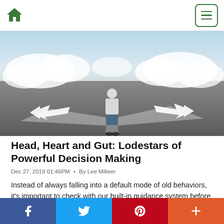Home | Menu
[Figure (photo): A man standing at a crossroads on a road that forks in two directions with white arrows, sky and clouds in background]
Head, Heart and Gut: Lodestars of Powerful Decision Making
Dec 27, 2018 01:46PM • By Lee Milteer
Instead of always falling into a default mode of old behaviors, it's important to check with our built-in guidance system before undertaking a course of
Facebook | Twitter | Pinterest | More